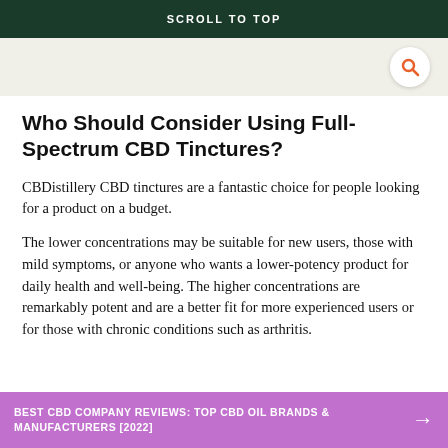SCROLL TO TOP
Who Should Consider Using Full-Spectrum CBD Tinctures?
CBDistillery CBD tinctures are a fantastic choice for people looking for a product on a budget.
The lower concentrations may be suitable for new users, those with mild symptoms, or anyone who wants a lower-potency product for daily health and well-being. The higher concentrations are remarkably potent and are a better fit for more experienced users or for those with chronic conditions such as arthritis.
BEST CBD COMPANY REVIEWS: TOP CBD OIL BRANDS & MANUFACTURERS [2022]